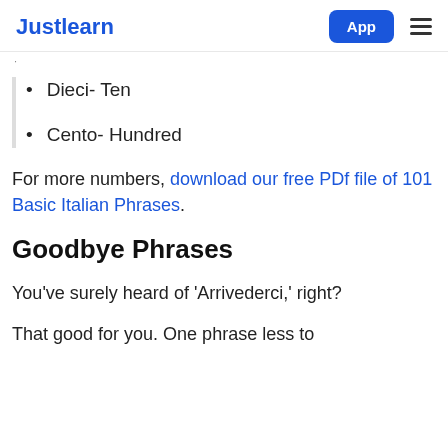Justlearn | App
Dieci- Ten
Cento- Hundred
For more numbers, download our free PDf file of 101 Basic Italian Phrases.
Goodbye Phrases
You've surely heard of 'Arrivederci,' right?
That good for you. One phrase less to